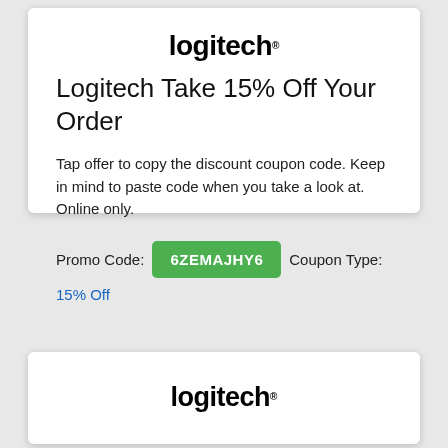[Figure (logo): Logitech logo — bold black text 'logitech' with registered trademark dot]
Logitech Take 15% Off Your Order
Tap offer to copy the discount coupon code. Keep in mind to paste code when you take a look at. Online only.
Promo Code: 6ZEMAJHY6   Coupon Type: 15% Off
[Figure (logo): Logitech logo — bold black text 'logitech' with registered trademark dot (second card)]